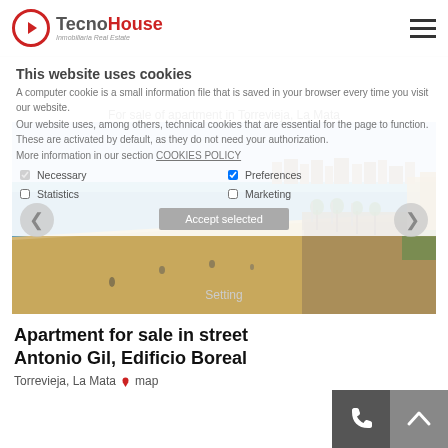TecnoHouse - Inmobiliaria Real Estate
This website uses cookies
A computer cookie is a small information file that is saved in your browser every time you visit our website.
Our website uses, among others, technical cookies that are essential for the page to function. These are activated by default, as they do not need your authorization.
More information in our section COOKIES POLICY
Necessary
Preferences
Statistics
Marketing
Accept selected
For sale of apartment in Torrevieja, La Mata
[Figure (photo): Beach photo showing wide sandy beach with promenade, turquoise sea, and town buildings in background. Navigation arrows on left and right.]
Setting
Apartment for sale in street Antonio Gil, Edificio Boreal
Torrevieja, La Mata  map